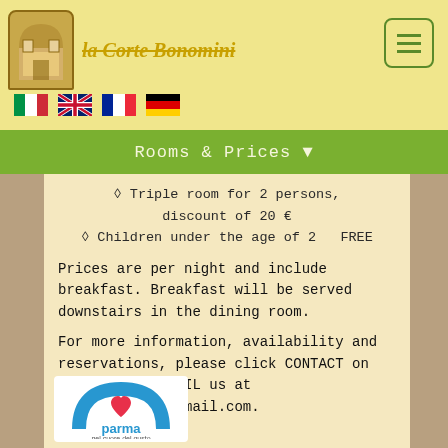[Figure (logo): La Corte Bonomini logo with arch icon and italic text]
[Figure (other): Hamburger menu button (three horizontal lines in green rounded square)]
[Figure (other): Four flag icons: Italian, UK, French, German]
Rooms & Prices ▼
◊ Triple room for 2 persons, discount of 20 €
◊ Children under the age of 2  FREE
Prices are per night and include breakfast. Breakfast will be served downstairs in the dining room.
For more information, availability and reservations, please click CONTACT on the MENU or EMAIL us at cortebonomini@gmail.com.
[Figure (logo): Parma nel cuore del gusto logo]